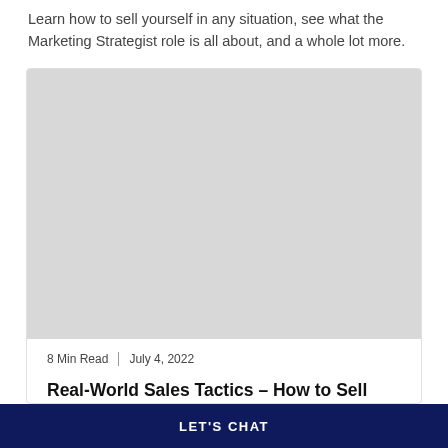Learn how to sell yourself in any situation, see what the Marketing Strategist role is all about, and a whole lot more.
[Figure (photo): Blog post card image placeholder (gray background) with metadata and title overlay]
8 Min Read | July 4, 2022
Real-World Sales Tactics – How to Sell Yourself In Any Situation
LET'S CHAT